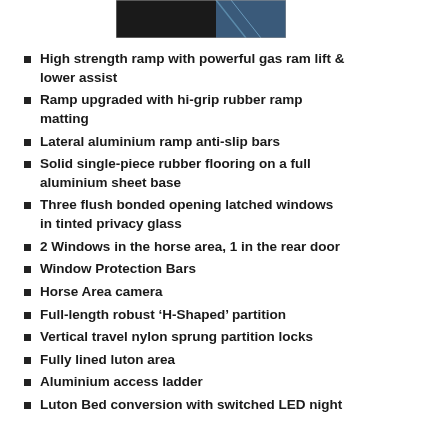[Figure (photo): Partial photo of a vehicle ramp or interior area, dark with blue highlight on the right side]
High strength ramp with powerful gas ram lift & lower assist
Ramp upgraded with hi-grip rubber ramp matting
Lateral aluminium ramp anti-slip bars
Solid single-piece rubber flooring on a full aluminium sheet base
Three flush bonded opening latched windows in tinted privacy glass
2 Windows in the horse area, 1 in the rear door
Window Protection Bars
Horse Area camera
Full-length robust ‘H-Shaped’ partition
Vertical travel nylon sprung partition locks
Fully lined luton area
Aluminium access ladder
Luton Bed conversion with switched LED night